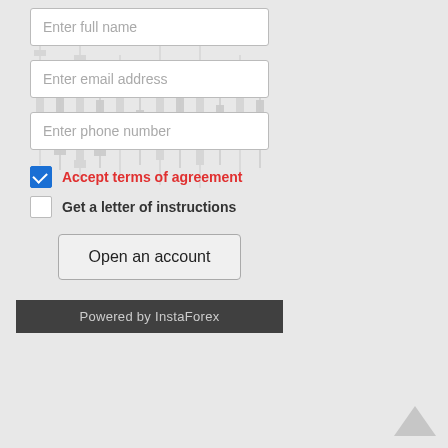[Figure (screenshot): Web form widget with financial chart (candlestick) background, input fields for full name, email address, phone number, checkboxes for terms of agreement and letter of instructions, Open an account button, and Powered by InstaForex footer]
Powered by InstaForex